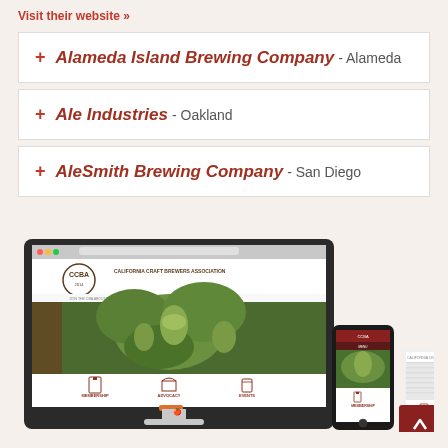Visit their website »
+ Alameda Island Brewing Company - Alameda
+ Ale Industries - Oakland
+ AleSmith Brewing Company - San Diego
[Figure (screenshot): Screenshot of the California Craft Brewers Association (CCBA) website displayed on an iMac desktop monitor, a smartphone, and a tablet, showing the CCBA logo, navigation menu, hop plant hero image, and icons for Membership, Advocacy, and Events sections.]